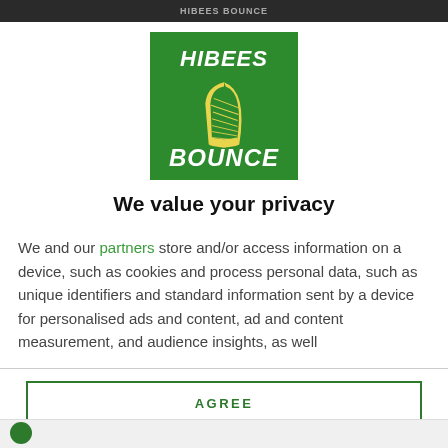HIBEES BOUNCE
[Figure (logo): Hibees Bounce logo: green square with 'HIBEES' text at top, yellow harp icon in center, 'BOUNCE' text at bottom, all on green background]
We value your privacy
We and our partners store and/or access information on a device, such as cookies and process personal data, such as unique identifiers and standard information sent by a device for personalised ads and content, ad and content measurement, and audience insights, as well
AGREE
MORE OPTIONS